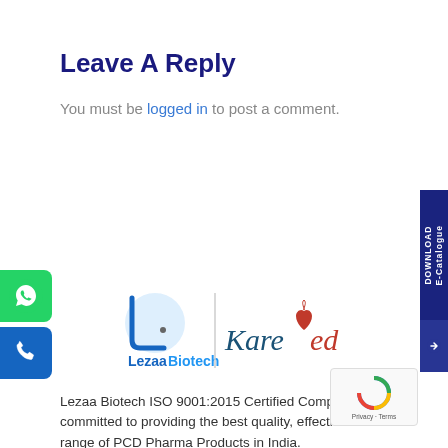Leave A Reply
You must be logged in to post a comment.
[Figure (logo): Lezaa Biotech and KareMed combined logo with vertical divider]
Lezaa Biotech ISO 9001:2015 Certified Company, committed to providing the best quality, effective and safe range of PCD Pharma Products in India.